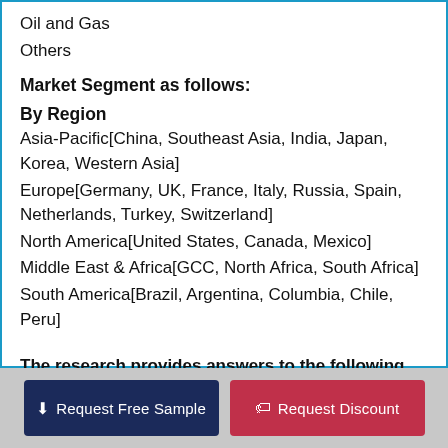Oil and Gas
Others
Market Segment as follows:
By Region
Asia-Pacific[China, Southeast Asia, India, Japan, Korea, Western Asia]
Europe[Germany, UK, France, Italy, Russia, Spain, Netherlands, Turkey, Switzerland]
North America[United States, Canada, Mexico]
Middle East & Africa[GCC, North Africa, South Africa]
South America[Brazil, Argentina, Columbia, Chile, Peru]
The research provides answers to the following key questions:
• What is the estimated growth rate and market share and size of the Bubbling Fluidized Bed (BFB) Boiler market for the forecast period